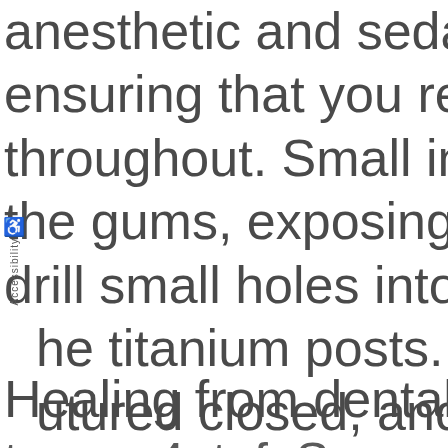anesthetic and sedation ensuring that you remain throughout. Small incisions the gums, exposing the jaw, drill small holes into the bone, the titanium posts. Finally, sutured closed, and temp placed.
Healing from dental implants takes 4 to 6...